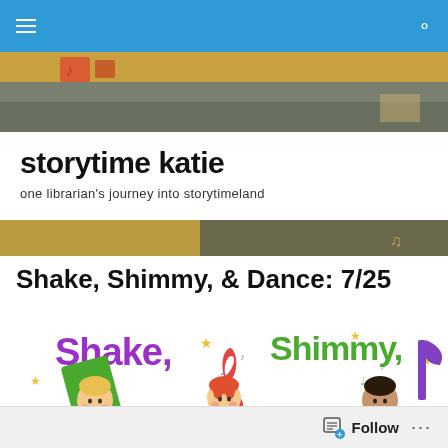Navigation bar with hamburger menu and search icon
[Figure (photo): Decorative header image showing a colorful quilt or book-related background]
storytime katie
one librarian's journey into storytimeland
[Figure (photo): Lower portion of decorative header image]
Shake, Shimmy, & Dance: 7/25
[Figure (illustration): Colorful cartoon illustration of three children with musical elements. Text reads 'Shake,' in purple on left and 'Shimmy,' in green on right. A red musical treble clef in the center. Children are animated cartoon style — blonde boy on left holding a green music note, red-haired girl in center holding the treble clef, and dark-haired boy on right. Yellow stars and musical notes scattered throughout.]
Follow ...